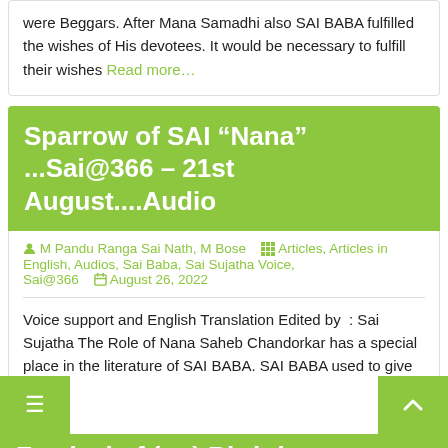were Beggars. After Mana Samadhi also SAI BABA fulfilled the wishes of His devotees. It would be necessary to fulfill their wishes Read more…
Sparrow of SAI “Nana” ...Sai@366 – 21st August....Audio
M Pandu Ranga Sai Nath, M Bose   Articles, Articles in English, Audios, Sai Baba, Sai Sujatha Voice, Sai@366   August 26, 2022
Voice support and English Translation Edited by  : Sai Sujatha The Role of Nana Saheb Chandorkar has a special place in the literature of SAI BABA. SAI BABA used to give many Teachings and Suggestions by making Nana Saheb Chandorkar Read more…
Festival of (on) Birthday